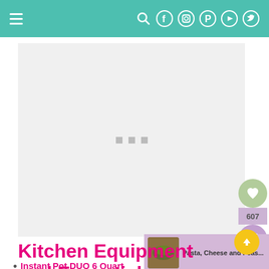Navigation bar with hamburger menu and social icons (search, facebook, instagram, pinterest, youtube, twitter)
[Figure (photo): Loading/placeholder image area with gray background and three gray square dots in the center]
[Figure (infographic): Social share sidebar showing heart/save button, share count 607, and share button]
[Figure (photo): Next article thumbnail for Pasta, Cheese and Peas...]
Kitchen Equipment and Essentials
Instant Pot DUO 6 Quart